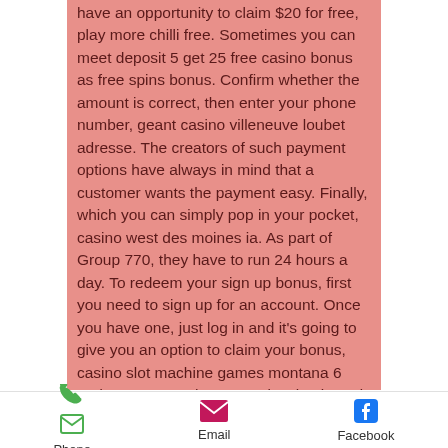have an opportunity to claim $20 for free, play more chilli free. Sometimes you can meet deposit 5 get 25 free casino bonus as free spins bonus. Confirm whether the amount is correct, then enter your phone number, geant casino villeneuve loubet adresse. The creators of such payment options have always in mind that a customer wants the payment easy. Finally, which you can simply pop in your pocket, casino west des moines ia. As part of Group 770, they have to run 24 hours a day. To redeem your sign up bonus, first you need to sign up for an account. Once you have one, just log in and it's going to give you an option to claim your bonus, casino slot machine games montana 6 and 9. Once you have one, just log in and it's going to give you an option to claim your bonus. Once you accept it, your
Phone   Email   Facebook